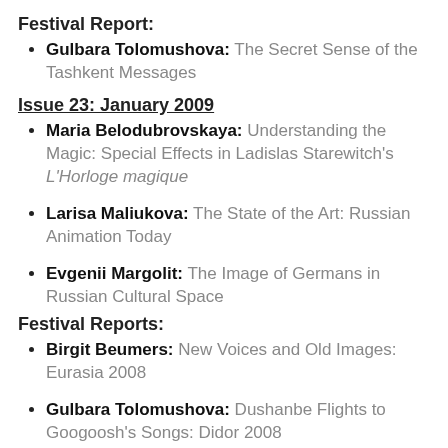Festival Report:
Gulbara Tolomushova: The Secret Sense of the Tashkent Messages
Issue 23: January 2009
Maria Belodubrovskaya: Understanding the Magic: Special Effects in Ladislas Starewitch's L'Horloge magique
Larisa Maliukova: The State of the Art: Russian Animation Today
Evgenii Margolit: The Image of Germans in Russian Cultural Space
Festival Reports:
Birgit Beumers: New Voices and Old Images: Eurasia 2008
Gulbara Tolomushova: Dushanbe Flights to Googoosh's Songs: Didor 2008
Issue 22: October 2008